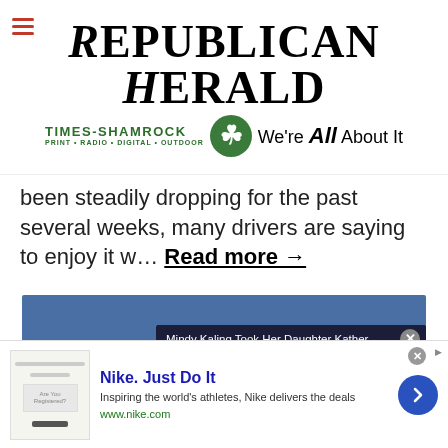Republican Herald — Times-Shamrock Print · Radio · Digital · Outdoor — We're All About It
been steadily dropping for the past several weeks, many drivers are saying to enjoy it w… Read more →
[Figure (screenshot): Video player popup showing 'Mindy Kaling Took Her Daughter Kather...' with a child figure silhouette against a dark background, mute button visible. Blue background behind the popup.]
[Figure (screenshot): Nike advertisement: 'Nike. Just Do It' — Inspiring the world's athletes, Nike delivers the deals. www.nike.com. Blue arrow button on right.]